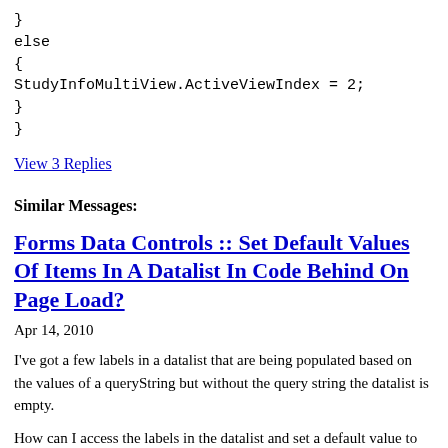}
else
{
StudyInfoMultiView.ActiveViewIndex = 2;
}
}
View 3 Replies
Similar Messages:
Forms Data Controls :: Set Default Values Of Items In A Datalist In Code Behind On Page Load?
Apr 14, 2010
I've got a few labels in a datalist that are being populated based on the values of a queryString but without the query string the datalist is empty.
How can I access the labels in the datalist and set a default value to